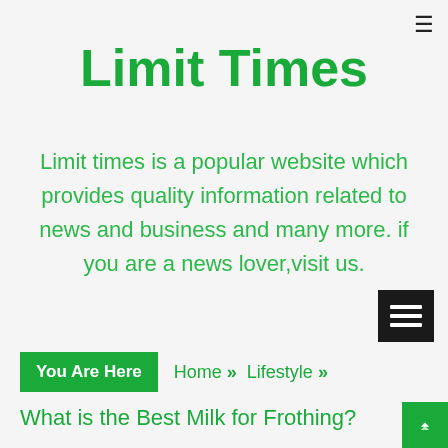Limit Times
Limit times is a popular website which provides quality information related to news and business and many more. if you are a news lover,visit us.
You Are Here  Home » Lifestyle »
What is the Best Milk for Frothing?